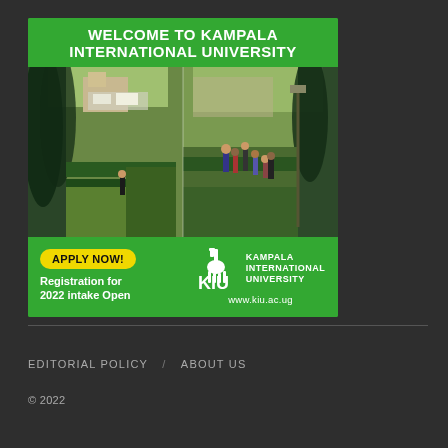[Figure (illustration): Kampala International University advertisement banner. Green background with bold white text 'WELCOME TO KAMPALA INTERNATIONAL UNIVERSITY' at top. Campus photo showing trees, cars, pathways and students walking. Bottom green strip with yellow 'APPLY NOW!' button, 'Registration for 2022 intake Open' text, KIU giraffe logo, 'KAMPALA INTERNATIONAL UNIVERSITY' name, and 'www.kiu.ac.ug' URL.]
EDITORIAL POLICY / ABOUT US
© 2022